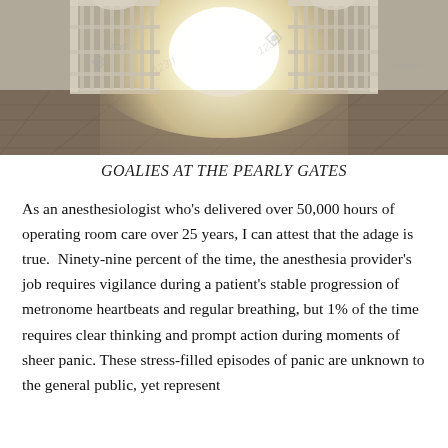[Figure (photo): Open ornate white pearly gates with bright light shining through, viewed from a dark interior floor. Stock photo with 123RF watermark.]
GOALIES AT THE PEARLY GATES
As an anesthesiologist who’s delivered over 50,000 hours of operating room care over 25 years, I can attest that the adage is true. Ninety-nine percent of the time, the anesthesia provider’s job requires vigilance during a patient’s stable progression of metronome heartbeats and regular breathing, but 1% of the time requires clear thinking and prompt action during moments of sheer panic. These stress-filled episodes of panic are unknown to the general public, yet represent